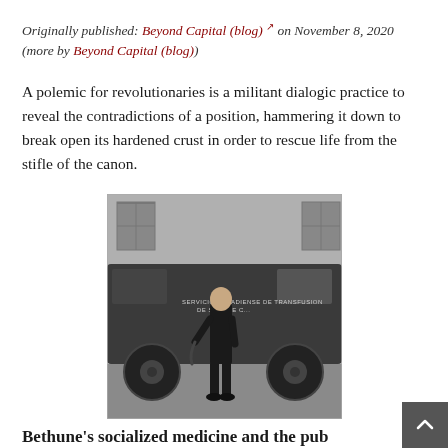Originally published: Beyond Capital (blog) [external link icon] on November 8, 2020 (more by Beyond Capital (blog))
A polemic for revolutionaries is a militant dialogic practice to reveal the contradictions of a position, hammering it down to break open its hardened crust in order to rescue life from the stifle of the canon.
[Figure (photo): Black and white historical photograph of a person in dark clothing standing in front of a van or truck with text on its side reading 'SERVICIO CANADIENSE DE TRANSFUSION DE SANGRE' or similar. The scene appears to be outdoors.]
Bethune's socialized medicine and the pub…